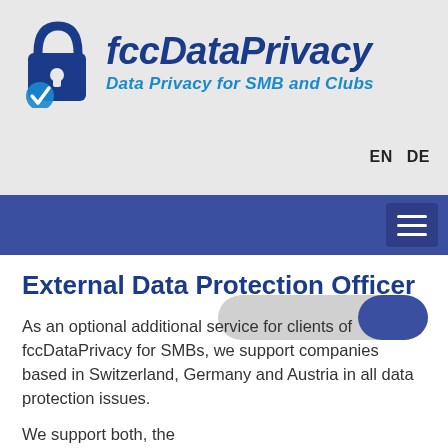[Figure (logo): fccDataPrivacy logo with lock icon and checkmark, text reads 'fccDataPrivacy' and 'Data Privacy for SMB and Clubs']
EN  DE
[Figure (other): Blue navigation bar with hamburger menu icon on right]
External Data Protection Officer
As an optional additional service for clients of fccDataPrivacy for SMBs, we support companies based in Switzerland, Germany and Austria in all data protection issues.
We support both, the